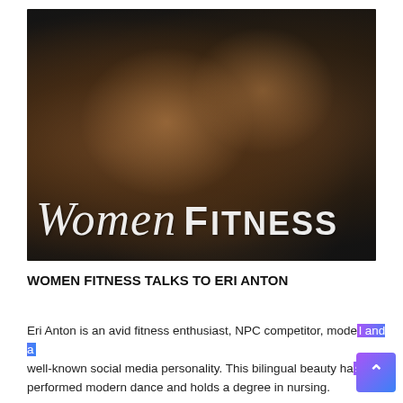[Figure (photo): A fitness model woman posing lying down in a leopard-print bikini against a dark background. The Women Fitness logo/text is overlaid on the image in white italic and bold letters reading 'Women FITNESS'.]
WOMEN FITNESS TALKS TO ERI ANTON
Eri Anton is an avid fitness enthusiast, NPC competitor, model and a well-known social media personality. This bilingual beauty has performed modern dance and holds a degree in nursing.